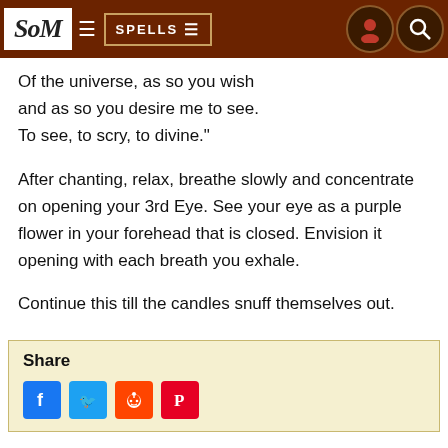SoM | SPELLS
Of the universe, as so you wish
and as so you desire me to see.
To see, to scry, to divine."
After chanting, relax, breathe slowly and concentrate on opening your 3rd Eye. See your eye as a purple flower in your forehead that is closed. Envision it opening with each breath you exhale.
Continue this till the candles snuff themselves out.
Share